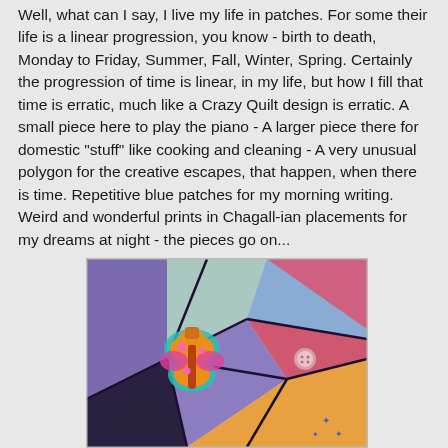Well, what can I say, I live my life in patches. For some their life is a linear progression, you know - birth to death, Monday to Friday, Summer, Fall, Winter, Spring. Certainly the progression of time is linear, in my life, but how I fill that time is erratic, much like a Crazy Quilt design is erratic. A small piece here to play the piano - A larger piece there for domestic "stuff" like cooking and cleaning - A very unusual polygon for the creative escapes, that happen, when there is time. Repetitive blue patches for my morning writing. Weird and wonderful prints in Chagall-ian placements for my dreams at night - the pieces go on...
[Figure (photo): Close-up photograph of a colorful crazy quilt or textile artwork with crochet/needlework patches in purple, pink, orange, yellow, blue, and teal, featuring a decorative butterfly or flower motif stitched in orange and pink with teal outline, and a small pink button on the right side.]